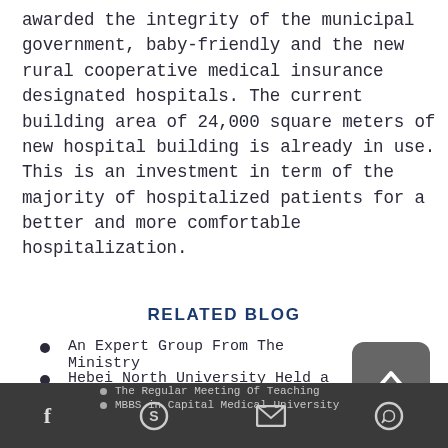awarded the integrity of the municipal government, baby-friendly and the new rural cooperative medical insurance designated hospitals. The current building area of 24,000 square meters of new hospital building is already in use. This is an investment in term of the majority of hospitalized patients for a better and more comfortable hospitalization.
RELATED BLOG
An Expert Group From The Ministry
Hebei North University Held a
Study in China
The Regular Meeting Of Teaching
MBBS in Capital Medical University
Footer with social icons: Facebook, Skype, Email, WhatsApp